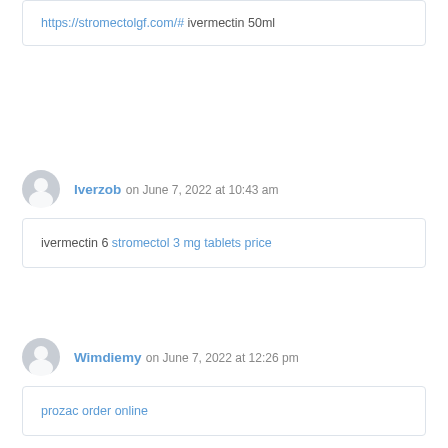https://stromectolgf.com/# ivermectin 50ml
Iverzob on June 7, 2022 at 10:43 am
ivermectin 6 stromectol 3 mg tablets price
Wimdiemy on June 7, 2022 at 12:26 pm
prozac order online